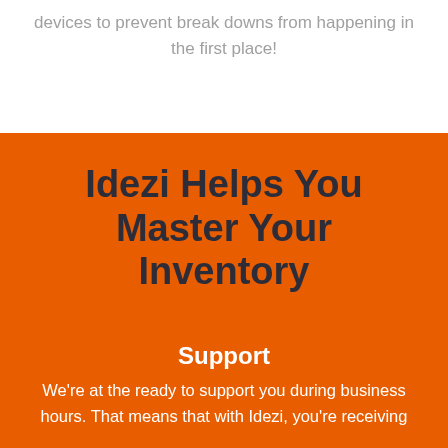devices to prevent break downs from happening in the first place!
Idezi Helps You Master Your Inventory
Support
We're at the ready to support you during business hours. That means that with Idezi, you're receiving